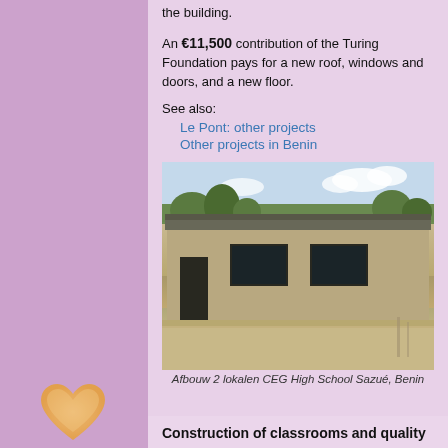the building.
An €11,500 contribution of the Turing Foundation pays for a new roof, windows and doors, and a new floor.
See also:
Le Pont: other projects
Other projects in Benin
[Figure (photo): Exterior photo of a low concrete school building with a metal roof, open doorways and windows, trees and blue sky in the background. Sandy ground in the foreground.]
Afbouw 2 lokalen CEG High School Sazué, Benin
Construction of classrooms and quality